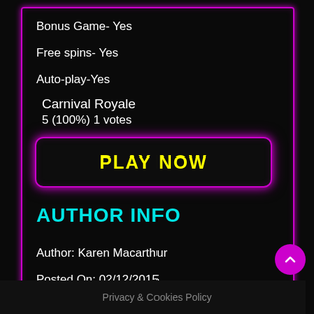Bonus Game- Yes
Free spins- Yes
Auto-play-Yes
Carnival Royale
5 (100%) 1 votes
[Figure (other): PLAY NOW button with neon pink/magenta border glow on dark background]
AUTHOR INFO
Author: Karen Macarthur
Posted On: 02/12/2015
Privacy & Cookies Policy